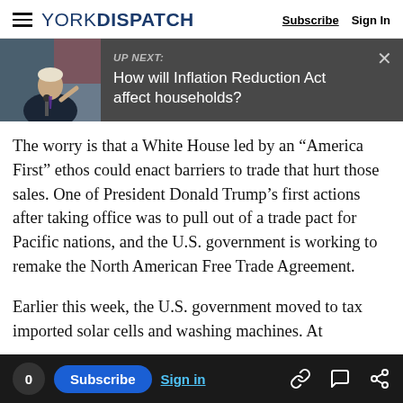YORK DISPATCH — Subscribe | Sign In
[Figure (screenshot): UP NEXT banner with photo of President Biden at podium and text: UP NEXT: How will Inflation Reduction Act affect households?]
The worry is that a White House led by an “America First” ethos could enact barriers to trade that hurt those sales. One of President Donald Trump’s first actions after taking office was to pull out of a trade pact for Pacific nations, and the U.S. government is working to remake the North American Free Trade Agreement.
Earlier this week, the U.S. government moved to tax imported solar cells and washing machines. At in Switzerland, Commerce Secretary Wilbur Ross